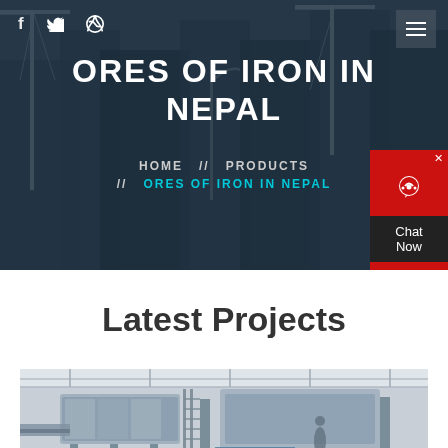[Figure (screenshot): Hero banner with city/construction background showing cranes and buildings with dark overlay]
f  twitter  dribbble  [hamburger menu]
ORES OF IRON IN NEPAL
HOME  //  PRODUCTS  //  ORES OF IRON IN NEPAL
Latest Projects
[Figure (photo): Industrial machinery / crushing equipment inside a facility]